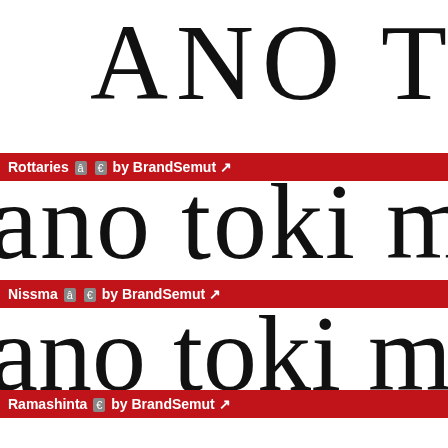ANO TOKI M
Rottaries â € by BrandSemut ↗
ano toki mi
Nissma â € by BrandSemut ↗
ano toki m
Ramashinta € by BrandSemut ↗